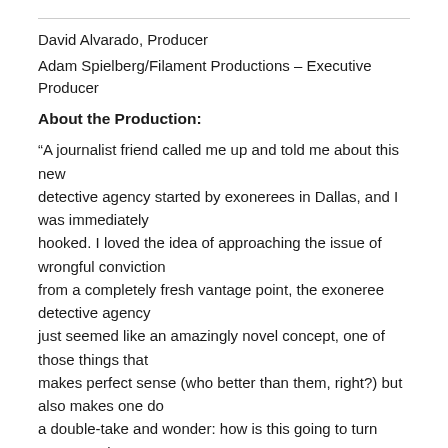David Alvarado, Producer
Adam Spielberg/Filament Productions – Executive Producer
About the Production:
“A journalist friend called me up and told me about this new detective agency started by exonerees in Dallas, and I was immediately hooked. I loved the idea of approaching the issue of wrongful conviction from a completely fresh vantage point, the exoneree detective agency just seemed like an amazingly novel concept, one of those things that makes perfect sense (who better than them, right?) but also makes one do a double-take and wonder: how is this going to turn out? I’ve always loved film noir, so this fits into that as well, except translating noir